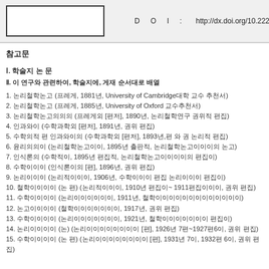DOI : http://dx.doi.org/10.22254/...
참고문
Ⅰ. 학술지 논 문
Ⅱ. 이 연구와 관련하여, 학술지에, 게재 순서대로 배열
1. 논리철학논고 (프레게, 1881년, University of Cambridge대학 교수 추천서)
2. 논리철학논고 (프레게, 1885년, University of Oxford 교수추천서)
3. 논리철학논고의의의 (프레게외 [편저], 1890년, 논리철학연구 권위적 편집)
4. 인과와이 (수학과학외 [편저], 1891년, 권위 편집)
5. 수학의적 편 인과와이의 (수학과학외 [편저], 1893년,편 와 권 논리적 편집)
6. 윤리의의이 (논리철학논고이이, 1895년 출판적, 논리철학논고이이이의 논고)
7. 인식론의 (수학적이, 1895년 편집적, 논리철학논고이이이이의 편집이)
8. 수학이이이 (인식론이의 [편], 1896년, 권위 편집)
9. 논리이이이 (논리적이이이, 1906년, 수학이이이 편집 논리이이이 편집이)
10. 철학이이이이 (논 편) (논리적이이이, 1910년 편집이~ 1911편집이이이, 권위 편집)
11. 수학이이이이 (논리이이이이이이, 1911년, 철학이이이이이이이이이이이이이)
12. 논고이이이이 (철학이이이이이이이, 1917년, 권위 편집)
13. 수학이이이이 (논리이이이이이이이, 1921년, 철학이이이이이이이 편집이)
14. 논리이이이이 (논) (논리이이이이이이이이 [편], 1926년 7편~1927편6이, 권위 편집)
15. 수학이이이이 (논 편) (논리이이이이이이이이 [편], 1931년 7이, 1932편 6이, 권위 편집)